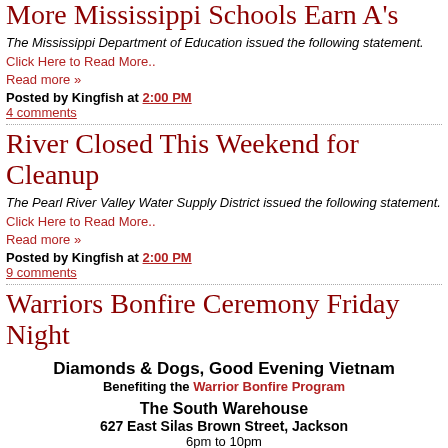More Mississippi Schools Earn A's
The Mississippi Department of Education issued the following statement.
Click Here to Read More..
Read more »
Posted by Kingfish at 2:00 PM
4 comments
River Closed This Weekend for Cleanup
The Pearl River Valley Water Supply District issued the following statement.
Click Here to Read More..
Read more »
Posted by Kingfish at 2:00 PM
9 comments
Warriors Bonfire Ceremony Friday Night
Diamonds & Dogs, Good Evening Vietnam
Benefiting the Warrior Bonfire Program
The South Warehouse
627 East Silas Brown Street, Jackson
6pm to 10pm
Friday, September 20, 2019